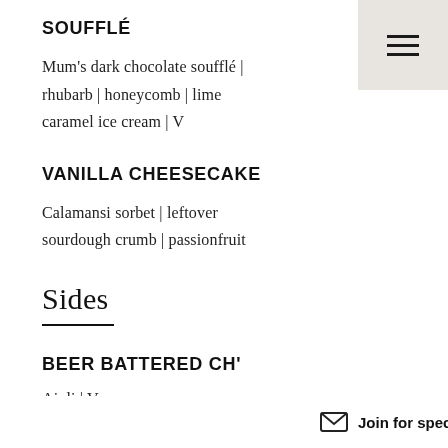SOUFFLÉ
Mum's dark chocolate soufflé | rhubarb | honeycomb | lime caramel ice cream | V
VANILLA CHEESECAKE
Calamansi sorbet | leftover sourdough crumb | passionfruit
Sides
BEER BATTERED CH'
Aioli | V